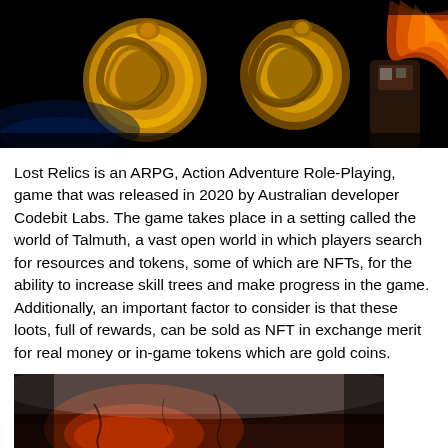[Figure (photo): Dark background image showing golden coin-like game tokens/relics and a character with orange/red feathers or flames on the right side. Game artwork for Lost Relics ARPG.]
Lost Relics is an ARPG, Action Adventure Role-Playing, game that was released in 2020 by Australian developer Codebit Labs. The game takes place in a setting called the world of Talmuth, a vast open world in which players search for resources and tokens, some of which are NFTs, for the ability to increase skill trees and make progress in the game. Additionally, an important factor to consider is that these loots, full of rewards, can be sold as NFT in exchange merit for real money or in-game tokens which are gold coins.
[Figure (photo): Dark game scene showing a dungeon or cave environment with reddish-orange glowing elements, misty atmosphere. Partial image cut off at bottom of page.]